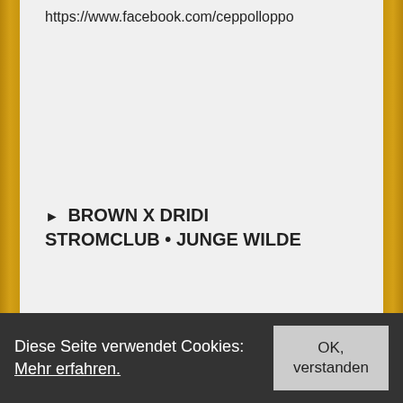https://www.facebook.com/ceppolloppo
► BROWN X DRIDI
STROMCLUB • JUNGE WILDE
■ GLASHAUS ████████████████████████
► hosted by 2 YRS FAUX FOX Magazine
Diese Seite verwendet Cookies: Mehr erfahren.
OK, verstanden